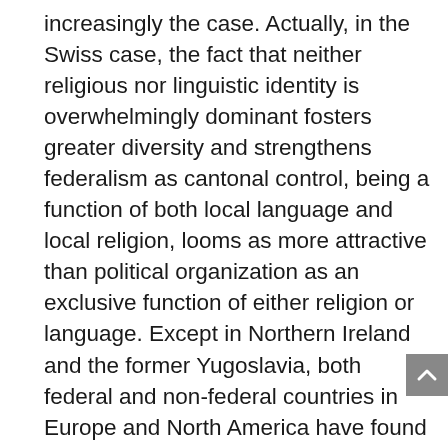increasingly the case. Actually, in the Swiss case, the fact that neither religious nor linguistic identity is overwhelmingly dominant fosters greater diversity and strengthens federalism as cantonal control, being a function of both local language and local religion, looms as more attractive than political organization as an exclusive function of either religion or language. Except in Northern Ireland and the former Yugoslavia, both federal and non-federal countries in Europe and North America have found ways of accommodating religious diversity without major difficulties. In other areas such as the Middle East, religious differences loom as much more divisive, as demonstrated by the case of Lebanon or by the Israeli-Palestinian conflict. The principal question raised by the existence of highly divisive religious conflicts throughout the world is whether religion itself is the culprit or whether it is merely exploited by political leaders to increase their